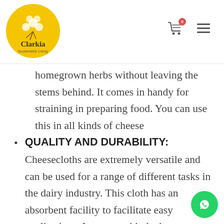Clarkia — Sustainable Living
homegrown herbs without leaving the stems behind. It comes in handy for straining in preparing food. You can use this in all kinds of cheese
QUALITY AND DURABILITY: Cheesecloths are extremely versatile and can be used for a range of different tasks in the dairy industry. This cloth has an absorbent facility to facilitate easy applications. It comes with the best